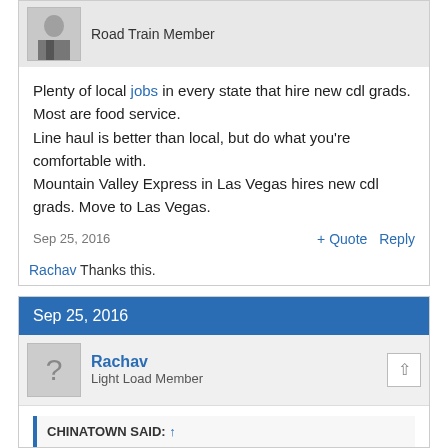[Figure (photo): User avatar showing a person in a skirt]
Road Train Member
Plenty of local jobs in every state that hire new cdl grads. Most are food service.
Line haul is better than local, but do what you're comfortable with.
Mountain Valley Express in Las Vegas hires new cdl grads. Move to Las Vegas.
Sep 25, 2016
+ Quote   Reply
Rachav Thanks this.
Sep 25, 2016
[Figure (photo): Default user avatar with question mark]
Rachav
Light Load Member
CHINATOWN SAID: ↑